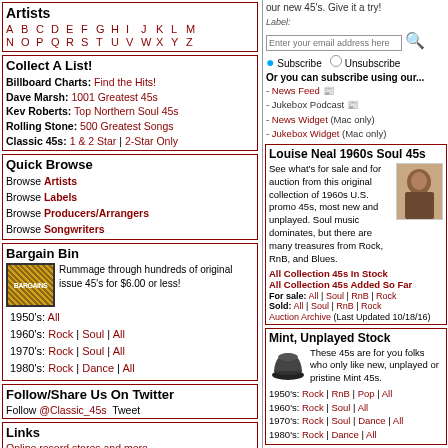Artists
A B C D E F G H I J K L M N O P Q R S T U V W X Y Z
Collect A List!
Billboard Charts: Find the Hits! Dave Marsh: 1001 Greatest 45s Kev Roberts: Top Northern Soul 45s Rolling Stone: 500 Greatest Songs Classic 45s: 1 & 2 Star | 2-Star Only
Quick Browse
Browse Artists
Browse Labels
Browse Producers/Arrangers
Browse Songwriters
Bargain Bin
Rummage through hundreds of original issue 45's for $6.00 or less!
1950's: All
1960's: Rock | Soul | All
1970's: Rock | Soul | All
1980's: Rock | Dance | All
Follow/Share Us On Twitter
Follow @Classic_45s  Tweet
Links
Online record stores and more
Information
About Classic 45s
Discounts Policy
FAQ's
Gift Certificates
our new 45's. Give it a try!
Enter your email address here
Subscribe / Unsubscribe
Or you can subscribe using our...
- News Feed
- Jukebox Podcast
- News Widget (Mac only)
- Jukebox Widget (Mac only)
Louise Neal 1960s Soul 45s
See what's for sale and for auction from this original collection of 1960s U.S. promo 45s, most new and unplayed. Soul music dominates, but there are many treasures from Rock, RnB, and Blues.
All Collection 45s In Stock
All Collection 45s Added So Far
For sale: All | Soul | RnB | Rock
Sold: All | Soul | RnB | Rock
Auction Archive (Last Updated 10/18/16)
Mint, Unplayed Stock
These 45s are for you folks who only like new, unplayed or pristine Mint 45s.
1950's: Rock | RnB | Pop | All
1960's: Rock | Soul | All
1970's: Rock | Soul | Dance | All
1980's: Rock | Dance | All
Design your own virtual "box" using our Advanced Search form!